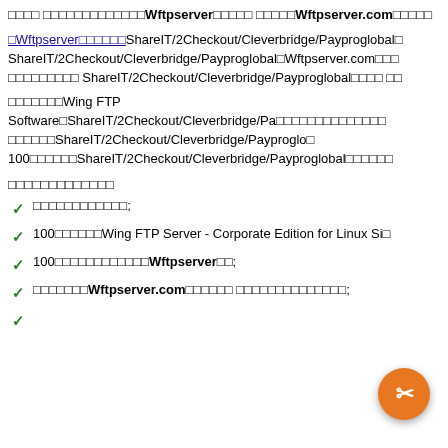□□□□ □□□□□□□□□□□□□Wftpserver□□□□□ □□□□□Wftpserver.com□□□□□
□Wftpserver□□□□□□ShareIT/2Checkout/Cleverbridge/Payproglobal□ ShareIT/2Checkout/Cleverbridge/Payproglobal□Wftpserver.com□□□□□□□□□□□□ ShareIT/2Checkout/Cleverbridge/Payproglobal□□□□□□
□□□□□□□Wing FTP Software□ShareIT/2Checkout/Cleverbridge/Pa□□□□□□□□□□□□□□ □□□□□□ShareIT/2Checkout/Cleverbridge/Payproglo□ 100□□□□□□ShareIT/2Checkout/Cleverbridge/Payproglobal□□□□□□
□□□□□□□□□□□□□
□□□□□□□□□□□□;
100□□□□□□Wing FTP Server - Corporate Edition for Linux Si□
100□□□□□□□□□□□□Wftpserver□□;
□□□□□□□Wftpserver.com□□□□□□ □□□□□□□□□□□□□□;